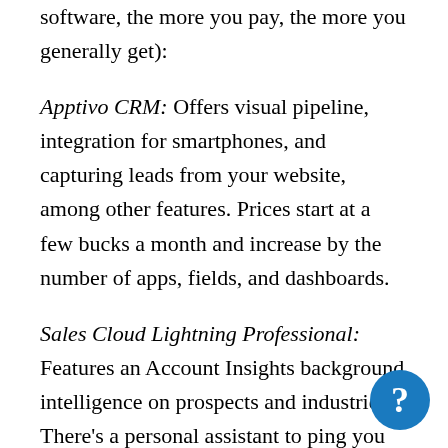software, the more you pay, the more you generally get):
Apptivo CRM: Offers visual pipeline, integration for smartphones, and capturing leads from your website, among other features. Prices start at a few bucks a month and increase by the number of apps, fields, and dashboards.
Sales Cloud Lightning Professional: Features an Account Insights background intelligence on prospects and industries. There's a personal assistant to ping you about overdue tasks, trouble spots, and leads. Cost is low two to low three figures per month per user, billed